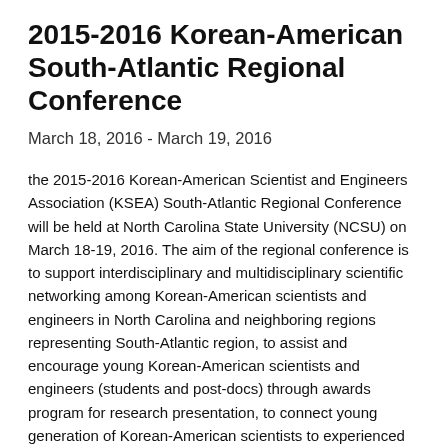2015-2016 Korean-American South-Atlantic Regional Conference
March 18, 2016 - March 19, 2016
the 2015-2016 Korean-American Scientist and Engineers Association (KSEA) South-Atlantic Regional Conference will be held at North Carolina State University (NCSU) on March 18-19, 2016. The aim of the regional conference is to support interdisciplinary and multidisciplinary scientific networking among Korean-American scientists and engineers in North Carolina and neighboring regions representing South-Atlantic region, to assist and encourage young Korean-American scientists and engineers (students and post-docs) through awards program for research presentation, to connect young generation of Korean-American scientists to experienced professionals and mentors, and to enhance cooperative efforts in engineering and technology between North Carolina...